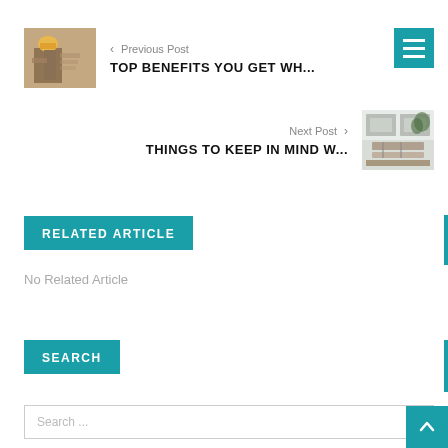[Figure (photo): Construction worker wearing yellow hard hat viewed from behind]
< Previous Post
TOP BENEFITS YOU GET WH...
[Figure (photo): Modern bathroom interior with mirrors and vanity]
Next Post >
THINGS TO KEEP IN MIND W...
RELATED ARTICLE
No Related Article
SEARCH
Search ...